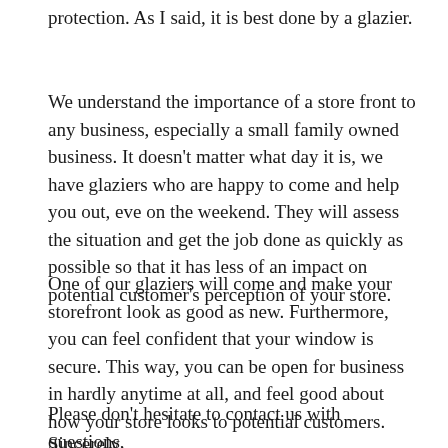protection. As I said, it is best done by a glazier.
We understand the importance of a store front to any business, especially a small family owned business. It doesn't matter what day it is, we have glaziers who are happy to come and help you out, eve on the weekend. They will assess the situation and get the job done as quickly as possible so that it has less of an impact on potential customer's perception of your store.
One of our glaziers will come and make your storefront look as good as new. Furthermore, you can feel confident that your window is secure. This way, you can be open for business in hardly anytime at all, and feel good about how your store looks to potential customers.
Please don't hesitate to contact us with questions,
Sincerely,